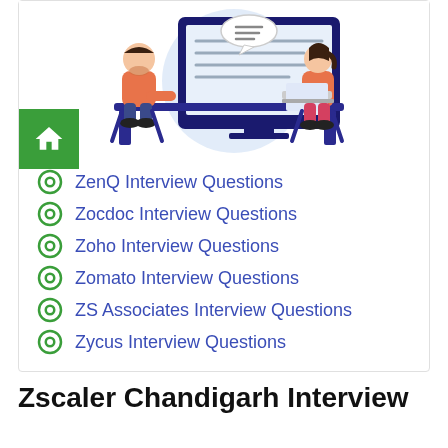[Figure (illustration): Two people sitting at a desk facing each other with a large monitor/screen between them showing chat/text lines. A speech bubble is visible. People are wearing orange/coral clothing.]
ZenQ Interview Questions
Zocdoc Interview Questions
Zoho Interview Questions
Zomato Interview Questions
ZS Associates Interview Questions
Zycus Interview Questions
Zscaler Chandigarh Interview